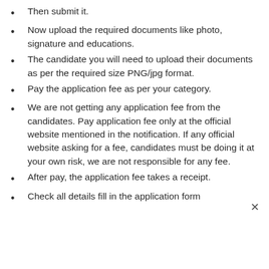Then submit it.
Now upload the required documents like photo, signature and educations.
The candidate you will need to upload their documents as per the required size PNG/jpg format.
Pay the application fee as per your category.
We are not getting any application fee from the candidates. Pay application fee only at the official website mentioned in the notification. If any official website asking for a fee, candidates must be doing it at your own risk, we are not responsible for any fee.
After pay, the application fee takes a receipt.
Check all details fill in the application form